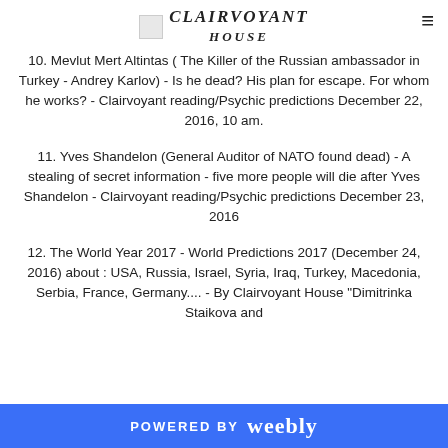CLAIRVOYANT HOUSE
10. Mevlut Mert Altintas ( The Killer of the Russian ambassador in Turkey - Andrey Karlov) - Is he dead? His plan for escape. For whom he works? - Clairvoyant reading/Psychic predictions December 22, 2016, 10 am.
11. Yves Shandelon (General Auditor of NATO found dead) - A stealing of secret information - five more people will die after Yves Shandelon - Clairvoyant reading/Psychic predictions December 23, 2016
12. The World Year 2017 - World Predictions 2017 (December 24, 2016) about : USA, Russia, Israel, Syria, Iraq, Turkey, Macedonia, Serbia, France, Germany.... - By Clairvoyant House "Dimitrinka Staikova and
POWERED BY weebly